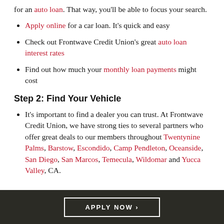for an auto loan. That way, you'll be able to focus your search.
Apply online for a car loan. It's quick and easy
Check out Frontwave Credit Union's great auto loan interest rates
Find out how much your monthly loan payments might cost
Step 2: Find Your Vehicle
It's important to find a dealer you can trust. At Frontwave Credit Union, we have strong ties to several partners who offer great deals to our members throughout Twentynine Palms, Barstow, Escondido, Camp Pendleton, Oceanside, San Diego, San Marcos, Temecula, Wildomar and Yucca Valley, CA.
APPLY NOW >